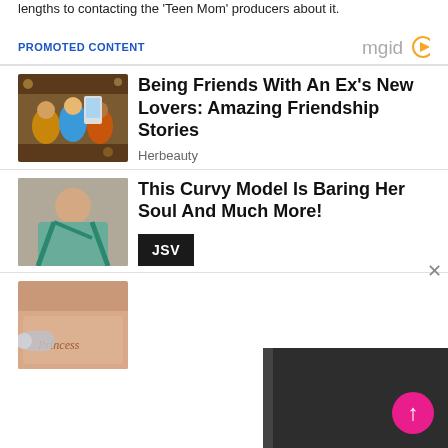lengths to contacting the 'Teen Mom' producers about it.
PROMOTED CONTENT
[Figure (photo): Group of friends taking a selfie in a restaurant setting]
Being Friends With An Ex's New Lovers: Amazing Friendship Stories
Herbeauty
[Figure (photo): Curvy model in teal outfit posing]
This Curvy Model Is Baring Her Soul And Much More!
JSV
[Figure (photo): Close-up of a tattoo being applied to skin with script text reading 'Princess']
[Figure (screenshot): Dark panel video player area at bottom right]